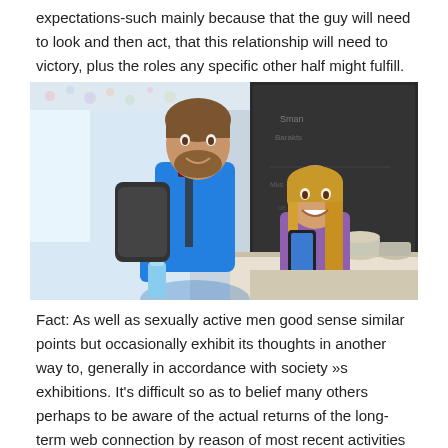expectations-such mainly because that the guy will need to look and then act, that this relationship will need to victory, plus the roles any specific other half might fulfill.
[Figure (photo): A smiling bearded man in a blue athletic shirt with a backpack and water bottle talks to a woman with a ponytail in a purple sports top who is seated and holding a smartphone, in what appears to be a gym or cafe setting with a chalkboard in the background.]
Fact: As well as sexually active men good sense similar points but occasionally exhibit its thoughts in another way to, generally in accordance with society »s exhibitions. It's difficult so as to belief many others perhaps to be aware of the actual returns of the long-term web connection by reason of most recent activities or possibly